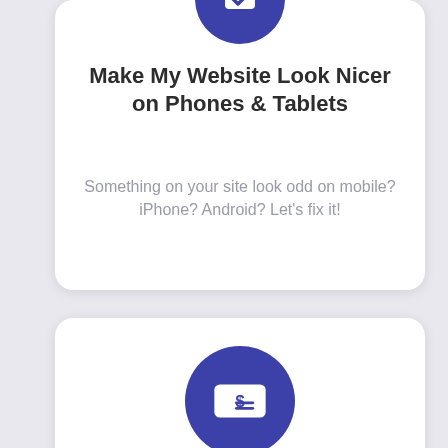[Figure (illustration): Blue circle icon with a checkmark or phone/tablet symbol at the top of the first card]
Make My Website Look Nicer on Phones & Tablets
Something on your site look odd on mobile? iPhone? Android? Let's fix it!
[Figure (illustration): Blue circle icon with a payment/invoice symbol ($=) in the second card]
Help Me Sell Online E-